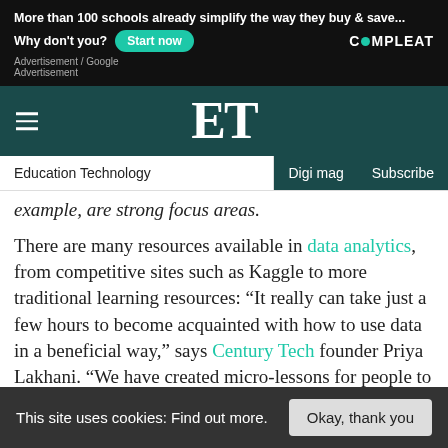[Figure (screenshot): Advertisement banner for Compleat with text 'More than 100 schools already simplify the way they buy & save... Why don't you? Start now' and Compleat logo on dark background]
[Figure (logo): ET (Education Technology) website navigation header with dark teal background, hamburger menu, ET logo in white serif font]
Education Technology | Digi mag | Subscribe
example, are strong focus areas.
There are many resources available in data analytics, from competitive sites such as Kaggle to more traditional learning resources: “It really can take just a few hours to become acquainted with how to use data in a beneficial way,” says Century Tech founder Priya Lakhani. “We have created micro-lessons for people to learn more about how our AI works. The prevalence of technology in schools is also leading to more
This site uses cookies: Find out more.